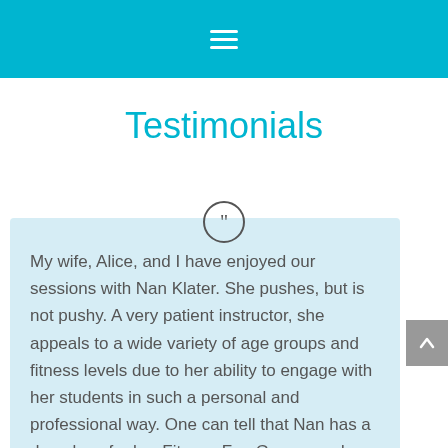Navigation menu (hamburger icon)
Testimonials
My wife, Alice, and I have enjoyed our sessions with Nan Klater. She pushes, but is not pushy. A very patient instructor, she appeals to a wide variety of age groups and fitness levels due to her ability to engage with her students in such a personal and professional way. One can tell that Nan has a deep love for her Fitness Fun Groups and